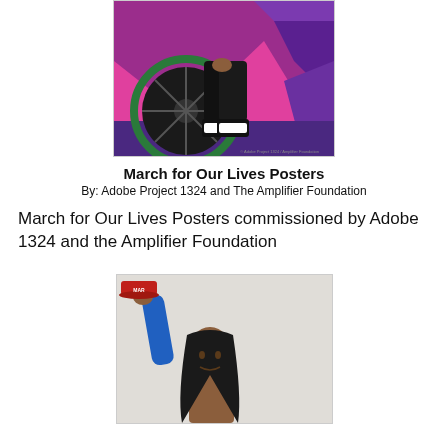[Figure (illustration): Partial illustration from March for Our Lives poster showing a person in a wheelchair with pink and purple abstract background, lower portion of image visible]
March for Our Lives Posters
By: Adobe Project 1324 and The Amplifier Foundation
March for Our Lives Posters commissioned by Adobe 1324 and the Amplifier Foundation
[Figure (illustration): Partial illustration showing a person with long dark hair, one arm raised holding a red cap, wearing a blue sleeve, painted in folk art style]